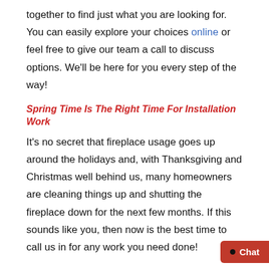together to find just what you are looking for. You can easily explore your choices online or feel free to give our team a call to discuss options. We'll be here for you every step of the way!
Spring Time Is The Right Time For Installation Work
It's no secret that fireplace usage goes up around the holidays and, with Thanksgiving and Christmas well behind us, many homeowners are cleaning things up and shutting the fireplace down for the next few months. If this sounds like you, then now is the best time to call us in for any work you need done!